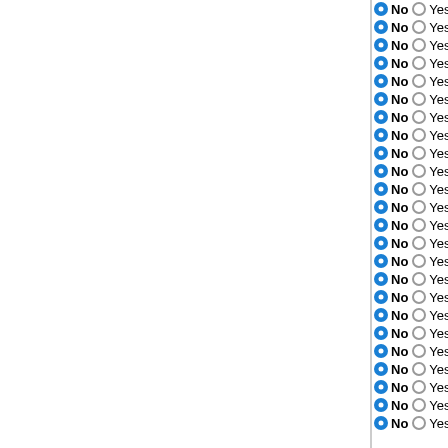No Yes Mesorhizobium sp. BNC1
No Yes Mesorhizobium opportunistum
No Yes Mesorhizobium ciceri biovar
No Yes Mesorhizobium loti MAFF303
No Yes Methylocella silvestris BL2
No Yes Pelagibacterium halotolerans
No Yes Rhodomicrobium vannielii AT
No Yes Hyphomicrobium sp. MC1
No Yes Hyphomicrobium denitrificans
No Yes Oligotropha carboxidovorans
No Yes Rhodopseudomonas palustris
No Yes Nitrobacter winogradskyi Nb-
No Yes Nitrobacter hamburgensis X1
No Yes Bradyrhizobium japonicum U
No Yes Bradyrhizobium sp. ORS 278
No Yes Bartonella tribocorum CIP 10
No Yes Bartonella clarridgeiae 73
No Yes Bartonella henselae str. Houston
No Yes Bartonella bacilliformis KC583
No Yes Teredinibacter turnerae T790
No Yes Shewanella piezotolerans W
No Yes Shewanella loihica PV-4
No Yes Shewanella halifaxensis HAW
No Yes Shewanella sediminis HAW-